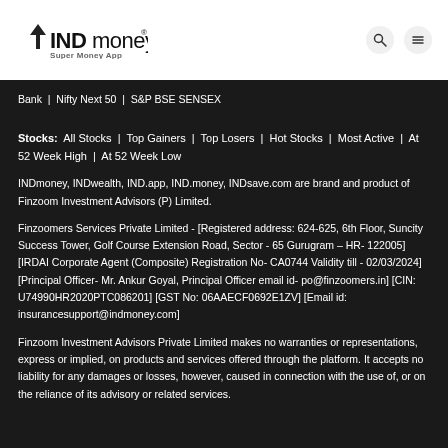[Figure (logo): INDmoney logo with upward arrow and 'Super Money App' tagline]
Bank | Nifty Next 50 | S&P BSE SENSEX
Stocks: All Stocks | Top Gainers | Top Losers | Hot Stocks | Most Active | At 52 Week High | At 52 Week Low
INDmoney, INDwealth, IND.app, IND.money, INDsave.com are brand and product of Finzoom Investment Advisors (P) Limited.
Finzoomers Services Private Limited - [Registered address: 624-625, 6th Floor, Suncity Success Tower, Golf Course Extension Road, Sector - 65 Gurugram – HR- 122005] [IRDAI Corporate Agent (Composite) Registration No- CA0744 Validity till - 02/03/2024] [Principal Officer- Mr. Ankur Goyal, Principal Officer email id- po@finzoomers.in] [CIN: U74990HR2020PTC086201] [GST No: 06AAECF0692E1ZV] [Email id: insurancesupport@indmoney.com]
Finzoom Investment Advisors Private Limited makes no warranties or representations, express or implied, on products and services offered through the platform. It accepts no liability for any damages or losses, however, caused in connection with the use of, or on the reliance of its advisory or related services.